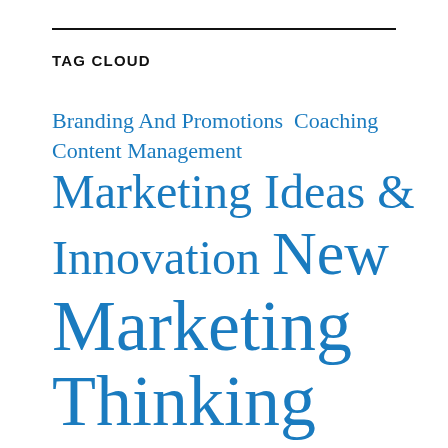TAG CLOUD
Branding And Promotions  Coaching  Content Management  Marketing Ideas &  Innovation  New  Marketing  Thinking